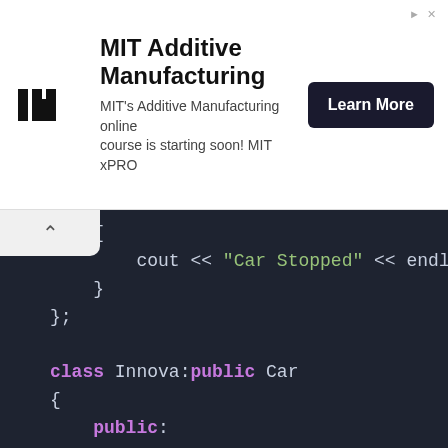[Figure (screenshot): MIT Additive Manufacturing advertisement banner with MIT logo, course description text, and Learn More button]
[Figure (screenshot): C++ code editor screenshot showing class Innova inheriting public Car with Start() and Stop() methods containing cout statements]